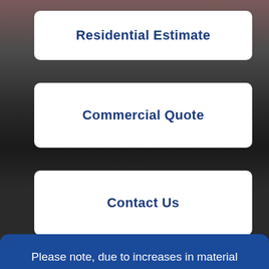Residential Estimate
Commercial Quote
Contact Us
Please note, due to increases in material pricing and disruptions in sourcing, all quotes are only valid for 30 days. We look forward to meeting all of your drilling